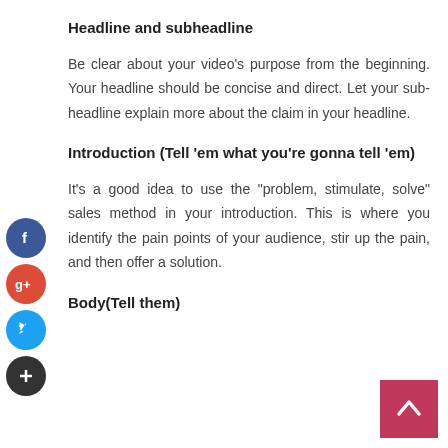Headline and subheadline
Be clear about your video's purpose from the beginning. Your headline should be concise and direct. Let your sub-headline explain more about the claim in your headline.
Introduction (Tell 'em what you're gonna tell 'em)
It's a good idea to use the "problem, stimulate, solve" sales method in your introduction. This is where you identify the pain points of your audience, stir up the pain, and then offer a solution.
Body(Tell them)
[Figure (infographic): Social sharing icons on the left side: Facebook (blue circle with f), Google+ (red circle with g+), Twitter (blue circle with bird), and a dark plus circle button. A pink/rose scroll-to-top arrow button at the bottom right.]